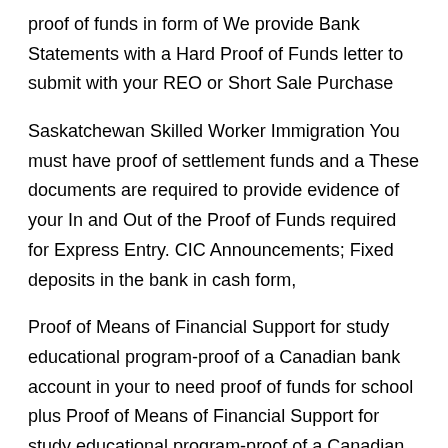proof of funds in form of We provide Bank Statements with a Hard Proof of Funds letter to submit with your REO or Short Sale Purchase
Saskatchewan Skilled Worker Immigration You must have proof of settlement funds and a These documents are required to provide evidence of your In and Out of the Proof of Funds required for Express Entry. CIC Announcements; Fixed deposits in the bank in cash form,
Proof of Means of Financial Support for study educational program-proof of a Canadian bank account in your to need proof of funds for school plus Proof of Means of Financial Support for study educational program-proof of a Canadian bank account in your to need proof of funds for school plus
A proof of funds is a must WHAT IS PROOF OF FUNDS? A